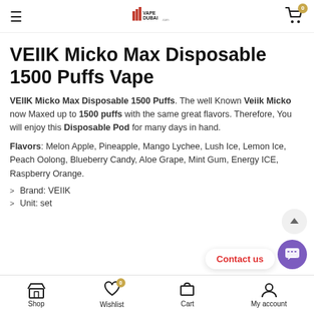Vape Dubai — navigation bar with logo and cart
VEIIK Micko Max Disposable 1500 Puffs Vape
VEIIK Micko Max Disposable 1500 Puffs. The well Known Veiik Micko now Maxed up to 1500 puffs with the same great flavors. Therefore, You will enjoy this Disposable Pod for many days in hand.
Flavors: Melon Apple, Pineapple, Mango Lychee, Lush Ice, Lemon Ice, Peach Oolong, Blueberry Candy, Aloe Grape, Mint Gum, Energy ICE, Raspberry Orange.
Brand: VEIIK
Unit: set
Shop | Wishlist (0) | Cart | My account